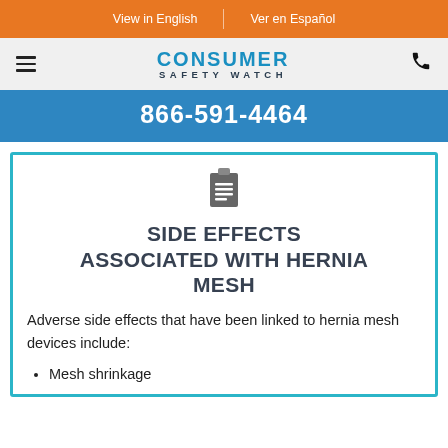View in English | Ver en Español
CONSUMER SAFETY WATCH
866-591-4464
SIDE EFFECTS ASSOCIATED WITH HERNIA MESH
Adverse side effects that have been linked to hernia mesh devices include:
Mesh shrinkage